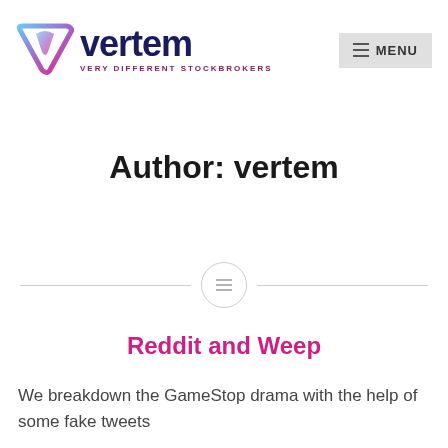[Figure (logo): Vertem logo with triangular icon in blue-pink gradient and text 'vertem VERY DIFFERENT STOCKBROKERS']
[Figure (other): Menu button with hamburger icon and text MENU]
Author: vertem
[Figure (other): Divider line with centered icon containing three horizontal lines]
Reddit and Weep
We breakdown the GameStop drama with the help of some fake tweets